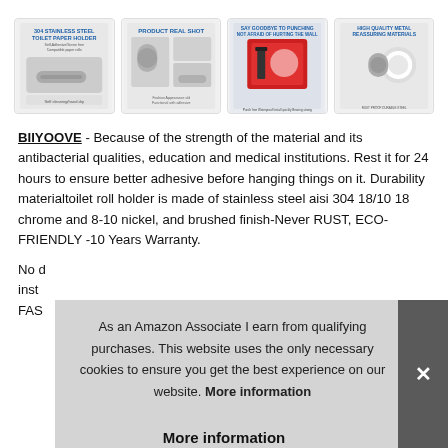[Figure (photo): Row of four product thumbnail images of a stainless steel toilet paper holder, showing product branding/specs, real product shot, no-punch adhesive installation, and high quality metal materials.]
BIIYOOVE - Because of the strength of the material and its antibacterial qualities, education and medical institutions. Rest it for 24 hours to ensure better adhesive before hanging things on it. Durability materialtoilet roll holder is made of stainless steel aisi 304 18/10 18 chrome and 8-10 nickel, and brushed finish-Never RUST, ECO-FRIENDLY -10 Years Warranty.
No [partial] inst[allation] FAS[T]
As an Amazon Associate I earn from qualifying purchases. This website uses the only necessary cookies to ensure you get the best experience on our website. More information
More information